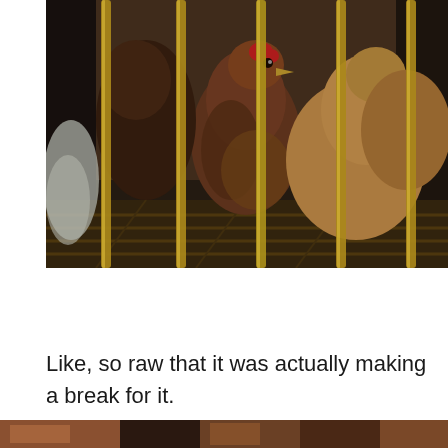[Figure (photo): Chickens or poultry birds crowded inside a cage with yellow/golden metal bars, viewed from above at close range. The birds have reddish-brown and tan feathers. The cage floor appears to be a metal grate. A plastic bag is visible on the left side.]
Like, so raw that it was actually making a break for it.
[Figure (photo): Partial view of another photo at the bottom of the page, partially cropped.]